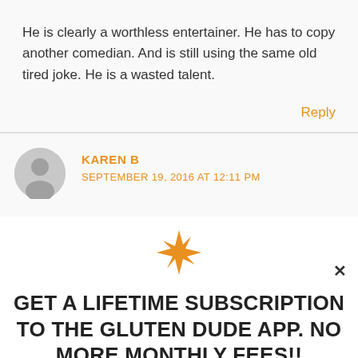He is clearly a worthless entertainer. He has to copy another comedian. And is still using the same old tired joke. He is a wasted talent.
Reply
KAREN B
SEPTEMBER 19, 2016 AT 12:11 PM
[Figure (illustration): Orange star/asterisk decorative icon]
GET A LIFETIME SUBSCRIPTION TO THE GLUTEN DUDE APP. NO MORE MONTHLY FEES!!
DETAILS